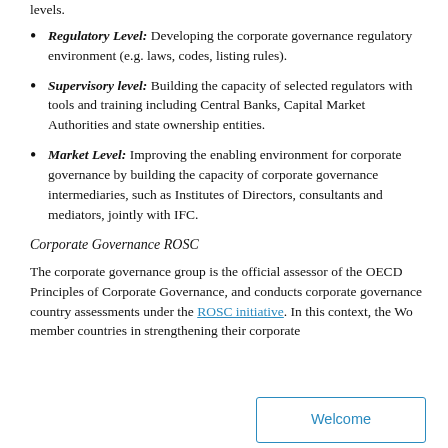levels.
Regulatory Level: Developing the corporate governance regulatory environment (e.g. laws, codes, listing rules).
Supervisory level: Building the capacity of selected regulators with tools and training including Central Banks, Capital Market Authorities and state ownership entities.
Market Level: Improving the enabling environment for corporate governance by building the capacity of corporate governance intermediaries, such as Institutes of Directors, consultants and mediators, jointly with IFC.
Corporate Governance ROSC
The corporate governance group is the official assessor of the OECD Principles of Corporate Governance, and conducts corporate governance country assessments under the ROSC initiative. In this context, the Wo member countries in strengthening their corporate